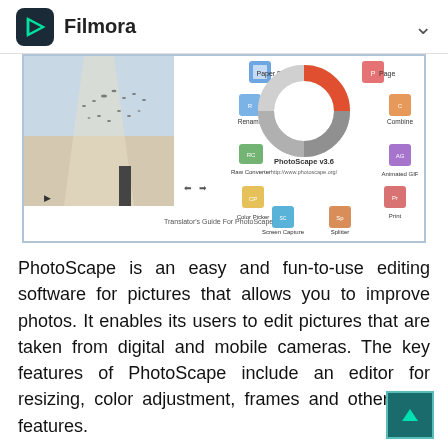Filmora
[Figure (screenshot): Screenshot of PhotoScape v3.6 software main interface showing various tool icons including Paper Print, Page, Rename, Combine, Raw Converter, Animated GIF, Color Picker, Print, Screen Capture, Splitter, and a donut/pie chart logo. Also shows a photo of birds in sky and text 'Translator's Guide For PhotoScape'.]
PhotoScape is an easy and fun-to-use editing software for pictures that allows you to improve photos. It enables its users to edit pictures that are taken from digital and mobile cameras. The key features of PhotoScape include an editor for resizing, color adjustment, frames and other vital features.